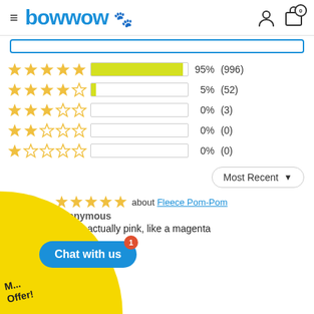bowwow — navigation header with hamburger menu, logo, user icon, cart icon (0 items)
[Figure (bar-chart): Rating distribution]
Most Recent ▼
[Figure (other): User avatar circle with letter A]
★★★★★ about Fleece Pom-Pom
Anonymous
r red is actually pink, like a magenta
Chat with us  1
M... Offer!